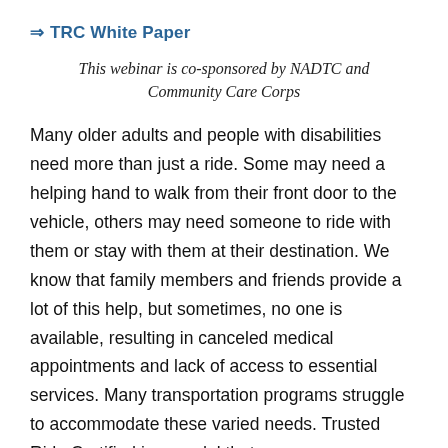⇒ TRC White Paper
This webinar is co-sponsored by NADTC and Community Care Corps
Many older adults and people with disabilities need more than just a ride. Some may need a helping hand to walk from their front door to the vehicle, others may need someone to ride with them or stay with them at their destination. We know that family members and friends provide a lot of this help, but sometimes, no one is available, resulting in canceled medical appointments and lack of access to essential services. Many transportation programs struggle to accommodate these varied needs. Trusted Ride Certified is a model that